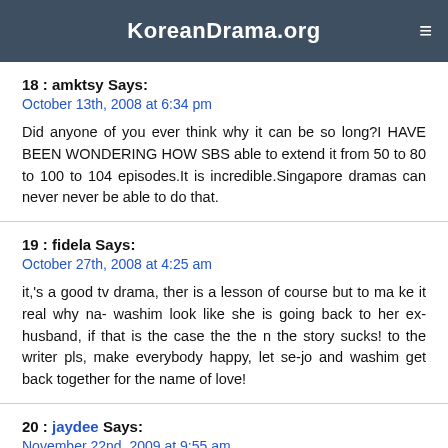KoreanDrama.org
18 : amktsy Says:
October 13th, 2008 at 6:34 pm

Did anyone of you ever think why it can be so long?I HAVE BEEN WONDERING HOW SBS able to extend it from 50 to 80 to 100 to 104 episodes.It is incredible.Singapore dramas can never never be able to do that.
19 : fidela Says:
October 27th, 2008 at 4:25 am

it,'s a good tv drama, ther is a lesson of course but to ma ke it real why na- washim look like she is going back to her ex-husband, if that is the case the the n the story sucks! to the writer pls, make everybody happy, let se-jo and washim get back together for the name of love!
20 : jaydee Says:
November 22nd, 2009 at 9:55 am